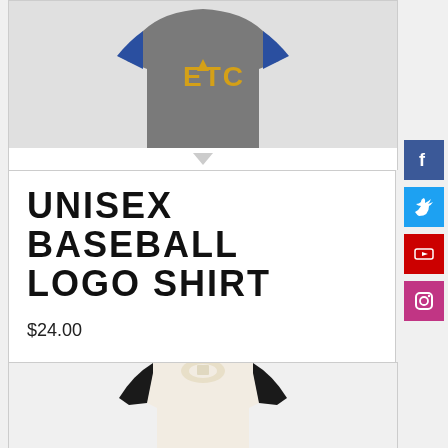[Figure (photo): Partial view of a gray and blue raglan baseball shirt with yellow logo letters on the front, shown from the torso up, cut off at top of page.]
UNISEX BASEBALL LOGO SHIRT
$24.00
Select options
[Figure (photo): Partial view of a white and black raglan baseball shirt, shown from the back/collar area, cut off at the bottom of the page.]